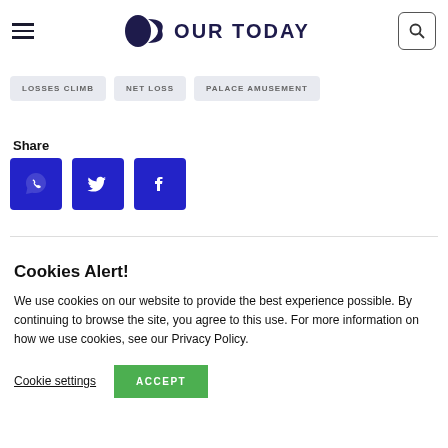OUR TODAY
LOSSES CLIMB
NET LOSS
PALACE AMUSEMENT
Share
[Figure (infographic): Three social sharing buttons: WhatsApp, Twitter, Facebook — all dark blue square icons]
Cookies Alert!
We use cookies on our website to provide the best experience possible. By continuing to browse the site, you agree to this use. For more information on how we use cookies, see our Privacy Policy.
Cookie settings   ACCEPT